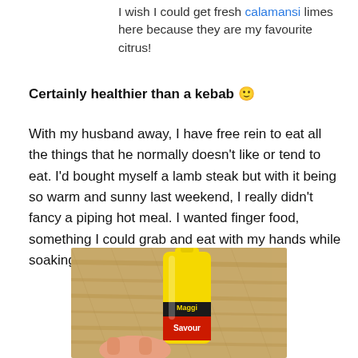I wish I could get fresh calamansi limes here because they are my favourite citrus!
Certainly healthier than a kebab 🙂
With my husband away, I have free rein to eat all the things that he normally doesn't like or tend to eat. I'd bought myself a lamb steak but with it being so warm and sunny last weekend, I really didn't fancy a piping hot meal. I wanted finger food, something I could grab and eat with my hands while soaking up the sun in my deck chair.
[Figure (photo): A hand holding a yellow Maggi Savour sauce bottle on a wooden surface]